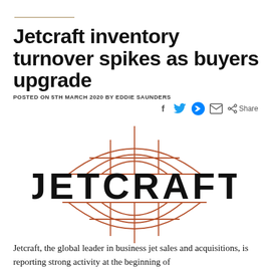Jetcraft inventory turnover spikes as buyers upgrade
POSTED ON 5TH MARCH 2020 BY EDDIE SAUNDERS
[Figure (logo): Jetcraft logo — a globe icon in terracotta/red with horizontal and vertical lines, with the word JETCRAFT in large bold black capitals]
Jetcraft, the global leader in business jet sales and acquisitions, is reporting strong activity at the beginning of